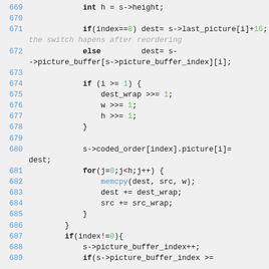[Figure (screenshot): Source code listing (C/C++) showing lines 669-689, a function body with memcpy loop and picture buffer index logic. Syntax-highlighted with line numbers in blue, numeric literals in green, function calls in blue, comments in gray italic.]